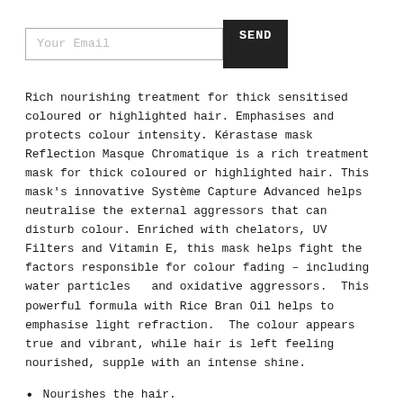[Figure (other): Email input field with 'Your Email' placeholder and a dark 'SEND' button]
Rich nourishing treatment for thick sensitised coloured or highlighted hair. Emphasises and protects colour intensity. Kérastase mask Reflection Masque Chromatique is a rich treatment mask for thick coloured or highlighted hair. This mask's innovative Système Capture Advanced helps neutralise the external aggressors that can disturb colour. Enriched with chelators, UV Filters and Vitamin E, this mask helps fight the factors responsible for colour fading – including water particles  and oxidative aggressors.  This powerful formula with Rice Bran Oil helps to emphasise light refraction.  The colour appears true and vibrant, while hair is left feeling nourished, supple with an intense shine.
Nourishes the hair.
Gives a smooth & supple texture.
Technology:
NEW COMPLEX SYSTÈME CAPTURE ADVANCED
Kérastase shampoo Reflection Bain Chromatique Riche's innovative